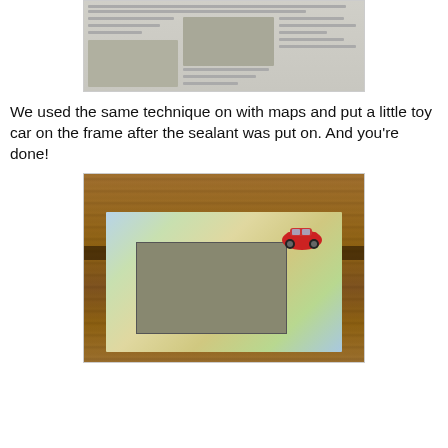[Figure (photo): Photo of a newspaper laid flat, showing text columns and images, partially cropped at top of page.]
We used the same technique on with maps and put a little toy car on the frame after the sealant was put on. And you're done!
[Figure (photo): Photo of a photo frame decorated with map paper, placed on a wooden surface. A small red toy car sits on the top-right corner of the frame.]